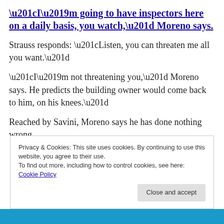“I’m going to have inspectors here on a daily basis, you watch,” Moreno says.
Strauss responds: “Listen, you can threaten me all you want.”
“I’m not threatening you,” Moreno says. He predicts the building owner would come back to him, on his knees.”
Reached by Savini, Moreno says he has done nothing wrong.
Privacy & Cookies: This site uses cookies. By continuing to use this website, you agree to their use.
To find out more, including how to control cookies, see here: Cookie Policy